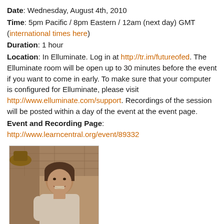Date: Wednesday, August 4th, 2010
Time: 5pm Pacific / 8pm Eastern / 12am (next day) GMT (international times here)
Duration: 1 hour
Location: In Elluminate. Log in at http://tr.im/futureofed. The Elluminate room will be open up to 30 minutes before the event if you want to come in early. To make sure that your computer is configured for Elluminate, please visit http://www.elluminate.com/support. Recordings of the session will be posted within a day of the event at the event page.
Event and Recording Page:
http://www.learncentral.org/event/89332
[Figure (photo): Sepia-toned photograph of a person smiling, shown from roughly the waist up, with stone/brick background.]